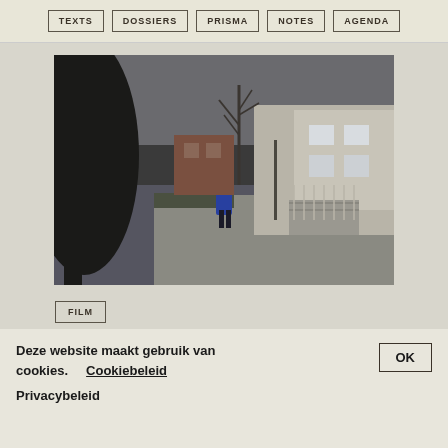TEXTS | DOSSIERS | PRISMA | NOTES | AGENDA
[Figure (photo): Street scene photograph showing a person in a blue jacket standing on a sidewalk near residential houses. Bare winter trees visible, a red car in the background, overcast sky.]
FILM
Deze website maakt gebruik van cookies. Cookiebeleid Privacybeleid
OK